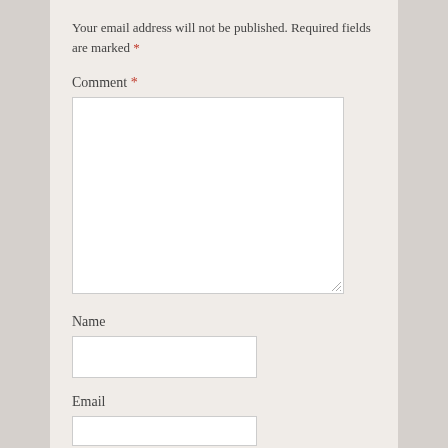Your email address will not be published. Required fields are marked *
Comment *
Name
Email